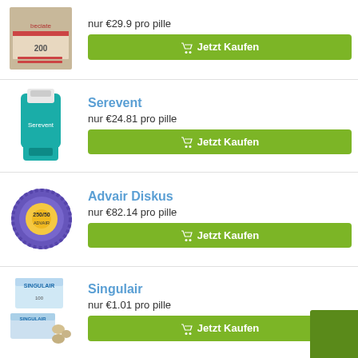[Figure (photo): Beciate 200 inhaler product box]
nur €29.9 pro pille
Jetzt Kaufen
Serevent
[Figure (photo): Serevent teal inhaler device]
nur €24.81 pro pille
Jetzt Kaufen
Advair Diskus
[Figure (photo): Advair Diskus 250/50 purple disc inhaler]
nur €82.14 pro pille
Jetzt Kaufen
Singulair
[Figure (photo): Singulair medication box and tablets]
nur €1.01 pro pille
Jetzt Kaufen